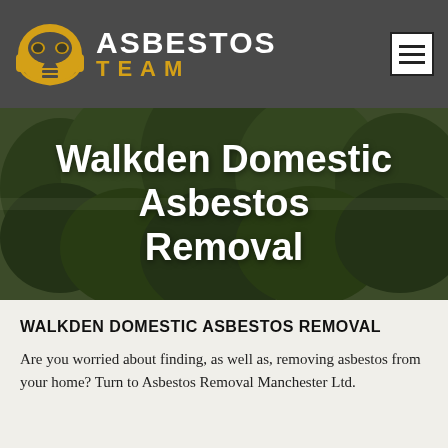[Figure (logo): Asbestos Team logo with gas mask icon in yellow/gold on dark grey header background, with hamburger menu icon on right]
[Figure (photo): Hero banner with trees/foliage background image overlaid with dark tint]
Walkden Domestic Asbestos Removal
WALKDEN DOMESTIC ASBESTOS REMOVAL
Are you worried about finding, as well as, removing asbestos from your home? Turn to Asbestos Removal Manchester Ltd.